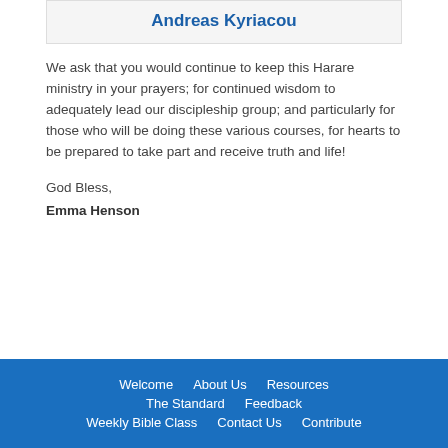Andreas Kyriacou
We ask that you would continue to keep this Harare ministry in your prayers; for continued wisdom to adequately lead our discipleship group; and particularly for those who will be doing these various courses, for hearts to be prepared to take part and receive truth and life!
God Bless,
Emma Henson
Welcome  About Us  Resources  The Standard  Feedback  Weekly Bible Class  Contact Us  Contribute